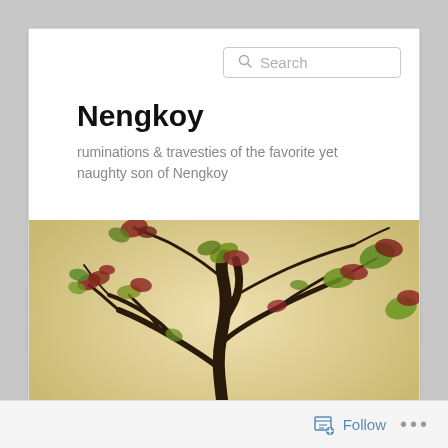Nengkoy
ruminations & travesties of the favorite yet naughty son of Nengkoy
[Figure (photo): Bonsai tree with dark twisted trunk and small red-green leaves against a warm beige/cream background. Navigation bar below with items: travel, food, art, music, nengkoy on dark background.]
Follow ...